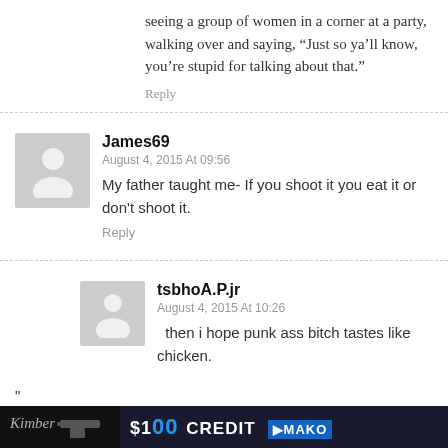seeing a group of women in a corner at a party, walking over and saying, “Just so ya’ll know, you’re stupid for talking about that.”
Reply
James69
August 4, 2015 At 09:56
My father taught me- If you shoot it you eat it or don't shoot it.
Reply
tsbhoA.P.jr
August 4, 2015 At 10:26
then i hope punk ass bitch tastes like chicken.
"
seriously, that longneck is just cuddling her
[Figure (infographic): Advertisement banner at bottom: dark background with Kimber logo, gun image, $100 CREDIT text and MAKO logo]